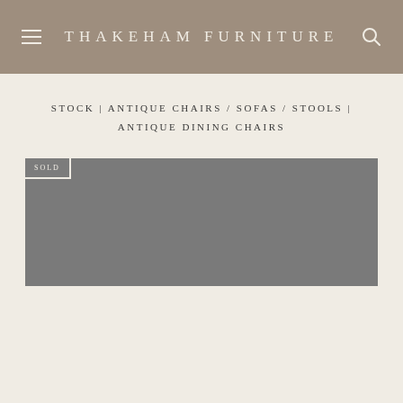THAKEHAM FURNITURE
STOCK | ANTIQUE CHAIRS / SOFAS / STOOLS | ANTIQUE DINING CHAIRS
[Figure (photo): A grey placeholder image of a sold antique dining chair product listing with a 'SOLD' badge in the top-left corner]